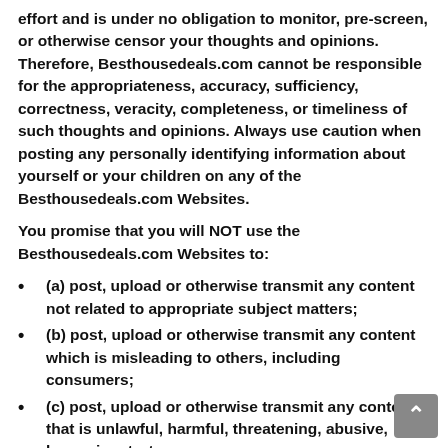effort and is under no obligation to monitor, pre-screen, or otherwise censor your thoughts and opinions. Therefore, Besthousedeals.com cannot be responsible for the appropriateness, accuracy, sufficiency, correctness, veracity, completeness, or timeliness of such thoughts and opinions. Always use caution when posting any personally identifying information about yourself or your children on any of the Besthousedeals.com Websites.
You promise that you will NOT use the Besthousedeals.com Websites to:
(a) post, upload or otherwise transmit any content not related to appropriate subject matters;
(b) post, upload or otherwise transmit any content which is misleading to others, including consumers;
(c) post, upload or otherwise transmit any content that is unlawful, harmful, threatening, abusive, harassing, torturous,